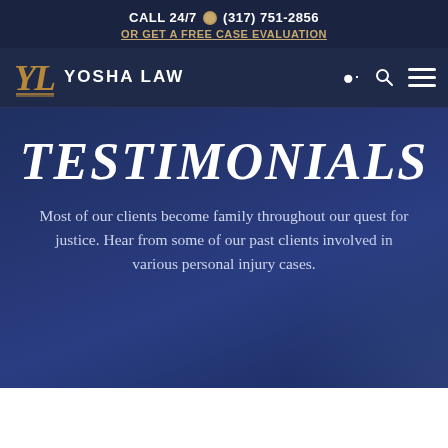CALL 24/7 (317) 751-2856 OR GET A FREE CASE EVALUATION
[Figure (logo): Yosha Law logo — YL monogram in gold with column motif, text YOSHA LAW in white]
TESTIMONIALS
Most of our clients become family throughout our quest for justice. Hear from some of our past clients involved in various personal injury cases.